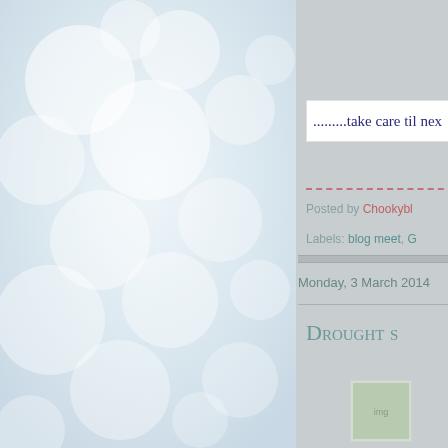[Figure (photo): Bokeh soft-focus light blur background in light blue-white tones, occupying the left two-thirds of the page]
.........take care til nex
Posted by Chookybl
Labels: blog meet, G
Monday, 3 March 2014
Drought s
[Figure (photo): Small thumbnail image, partially visible in bottom right area]